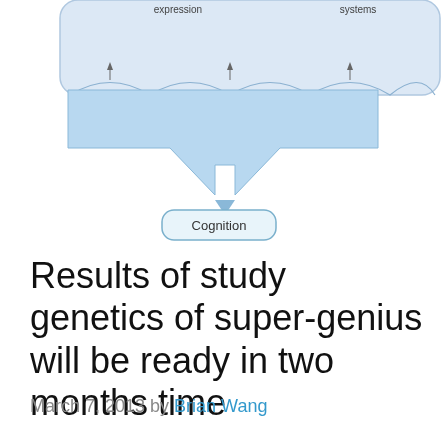[Figure (schematic): Bottom portion of a cognitive/genetics diagram showing a large light-blue downward arrow converging from a rounded rectangle at top (containing labels: expression, systems, remodeling with curved arrows) into a rounded rectangle labeled 'Cognition' at the bottom.]
Results of study genetics of super-genius will be ready in two months time
March 7, 2013 by Brian Wang